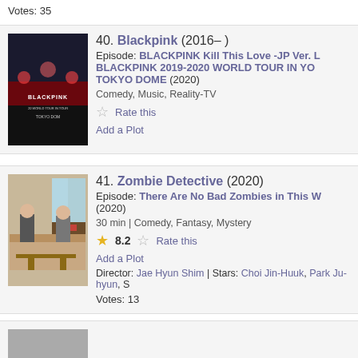Votes: 35
[Figure (photo): Blackpink 2019-2020 World Tour in Your Area Tokyo Dome concert poster thumbnail]
40. Blackpink (2016– ) Episode: BLACKPINK Kill This Love -JP Ver. L BLACKPINK 2019-2020 WORLD TOUR IN YO TOKYO DOME (2020)
Comedy, Music, Reality-TV
Rate this
Add a Plot
[Figure (photo): Zombie Detective TV show thumbnail showing two men in an office setting]
41. Zombie Detective (2020) Episode: There Are No Bad Zombies in This W (2020)
30 min | Comedy, Fantasy, Mystery
8.2  Rate this
Add a Plot
Director: Jae Hyun Shim | Stars: Choi Jin-Huuk, Park Ju-hyun, S
Votes: 13